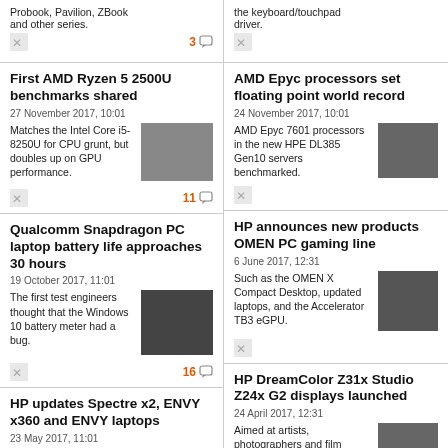Probook, Pavilion, ZBook and other series.
the keyboard/touchpad driver.
First AMD Ryzen 5 2500U benchmarks shared
27 November 2017, 10:01
Matches the Intel Core i5-8250U for CPU grunt, but doubles up on GPU performance.
AMD Epyc processors set floating point world record
24 November 2017, 10:01
AMD Epyc 7601 processors in the new HPE DL385 Gen10 servers benchmarked.
Qualcomm Snapdragon PC laptop battery life approaches 30 hours
19 October 2017, 11:01
The first test engineers thought that the Windows 10 battery meter had a bug.
HP announces new products OMEN PC gaming line
6 June 2017, 12:31
Such as the OMEN X Compact Desktop, updated laptops, and the Accelerator TB3 eGPU.
HP updates Spectre x2, ENVY x360 and ENVY laptops
23 May 2017, 11:01
Firm is at Cannes Film Festival as it seeks to
HP DreamColor Z31x Studio Z24x G2 displays launched
24 April 2017, 12:31
Aimed at artists, photographers and film